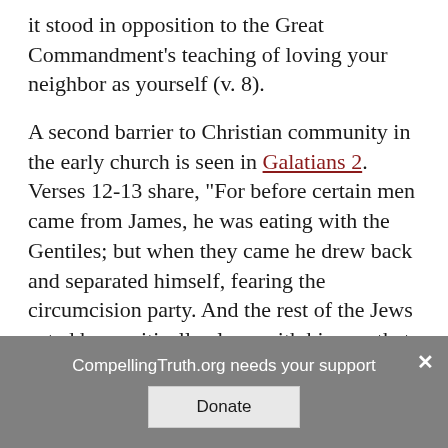it stood in opposition to the Great Commandment's teaching of loving your neighbor as yourself (v. 8).
A second barrier to Christian community in the early church is seen in Galatians 2. Verses 12-13 share, "For before certain men came from James, he was eating with the Gentiles; but when they came he drew back and separated himself, fearing the circumcision party. And the rest of the Jews acted hypocritically along with him, so that
CompellingTruth.org needs your support [Donate] ×